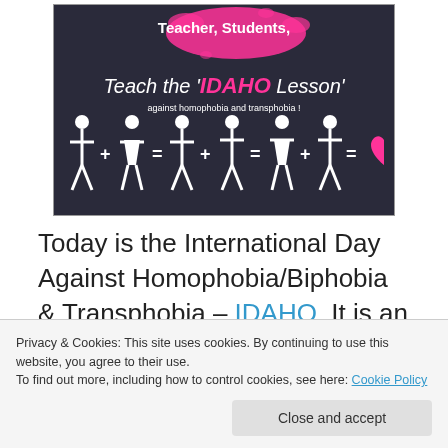[Figure (illustration): Dark chalkboard-style image with pink paint splat at top, text 'Teacher, Students, Teach the IDAHO Lesson against homophobia and transphobia!' with white silhouette figures showing diverse gender identities connected by plus/equals signs, ending with a pink heart. Promotes IDAHO Day education campaign.]
Today is the International Day Against Homophobia/Biphobia & Transphobia – IDAHO. It is an annual event commemorated by millions of people from
Privacy & Cookies: This site uses cookies. By continuing to use this website, you agree to their use.
To find out more, including how to control cookies, see here: Cookie Policy
Close and accept